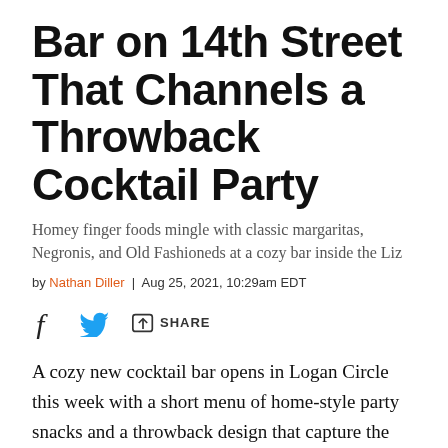Bar on 14th Street That Channels a Throwback Cocktail Party
Homey finger foods mingle with classic margaritas, Negronis, and Old Fashioneds at a cozy bar inside the Liz
by Nathan Diller | Aug 25, 2021, 10:29am EDT
[Figure (infographic): Social share icons: Facebook f icon, Twitter bird icon, share arrow icon with SHARE label]
A cozy new cocktail bar opens in Logan Circle this week with a short menu of home-style party snacks and a throwback design that capture the feeling of a loving mother’s living room. Jane Jane will start accepting customers at 1705 14th Street NW on Thursday, August 26.
Jean-Paul Sabatier, a culinary school grad who formerly